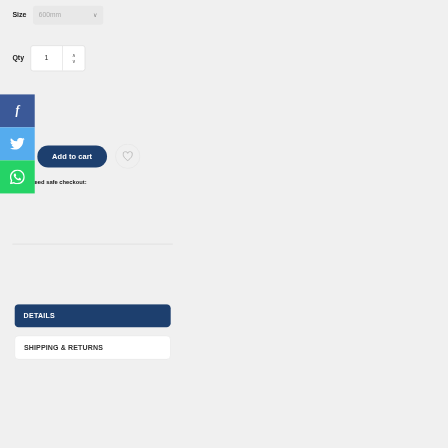Size
600mm
Qty
1
[Figure (screenshot): Facebook social share button (blue background, white f icon)]
[Figure (screenshot): Twitter social share button (light blue background, white bird icon)]
[Figure (screenshot): WhatsApp social share button (green background, white phone icon)]
Add to cart
Guaranteed safe checkout:
DETAILS
SHIPPING & RETURNS